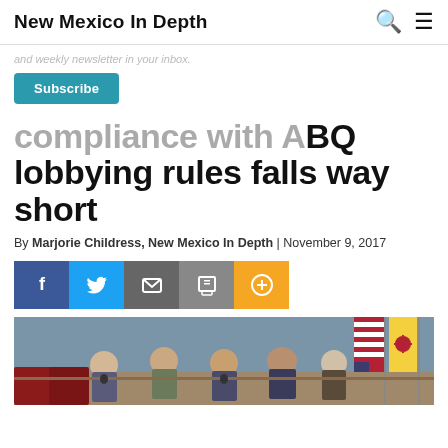New Mexico In Depth
and weekly newsletter in your inbox.
Subscribe
compliance with ABQ lobbying rules falls way short
By Marjorie Childress, New Mexico In Depth | November 9, 2017
[Figure (other): Social sharing buttons: Facebook, Twitter, Email, Print, More]
[Figure (photo): Photo of people seated at a table in what appears to be a government meeting room, with American and New Mexico flags visible in the background.]